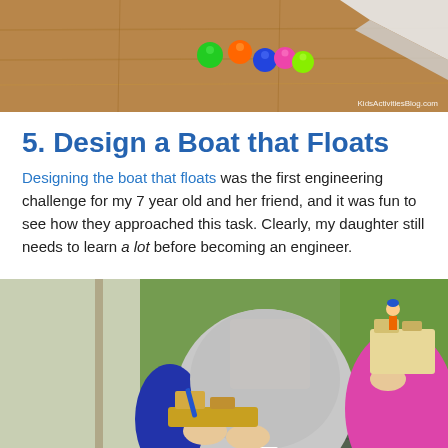[Figure (photo): Top portion of an image showing colorful balls (green, orange, blue, pink, green) on a wooden floor surface, with KidsActivitiesBlog.com watermark]
5. Design a Boat that Floats
Designing the boat that floats was the first engineering challenge for my 7 year old and her friend, and it was fun to see how they approached this task. Clearly, my daughter still needs to learn a lot before becoming an engineer.
[Figure (photo): Two children holding handmade boats they constructed. Left child in gray hoodie holds a flat wooden boat with blocks. Right child in pink jacket holds a box-like boat with a toy figure on top. Green wall in background.]